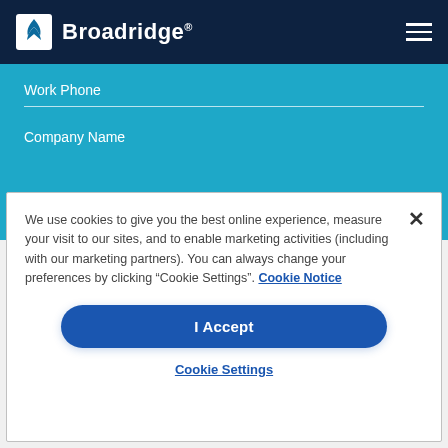Broadridge
Work Phone
Company Name
We use cookies to give you the best online experience, measure your visit to our sites, and to enable marketing activities (including with our marketing partners). You can always change your preferences by clicking “Cookie Settings”. Cookie Notice
I Accept
Cookie Settings